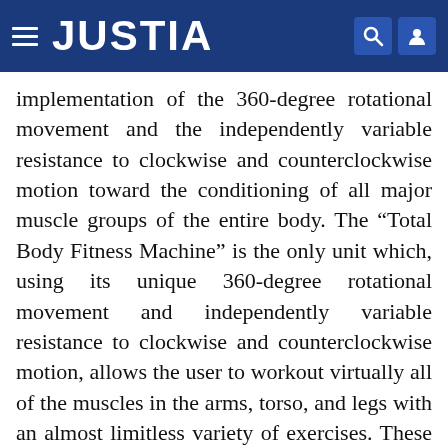JUSTIA
implementation of the 360-degree rotational movement and the independently variable resistance to clockwise and counterclockwise motion toward the conditioning of all major muscle groups of the entire body. The “Total Body Fitness Machine” is the only unit which, using its unique 360-degree rotational movement and independently variable resistance to clockwise and counterclockwise motion, allows the user to workout virtually all of the muscles in the arms, torso, and legs with an almost limitless variety of exercises. These unique features allow a user to work with higher resistance—building muscle mass, medium resistance—building muscle tone, and lower resistance—building cardiovascular strength through continued repetitions over a sustained timeframe. Finally, we have one machine that effectively and efficiently joins the complete muscular workout with the complete